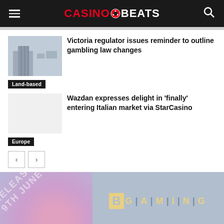CASINOBEATS
Victoria regulator issues reminder to outline gambling law changes
Land-based
Wazdan expresses delight in ‘finally’ entering Italian market via StarCasino
Europe
[Figure (screenshot): BGaming promotional banner with release date 9th June]
BGAMING